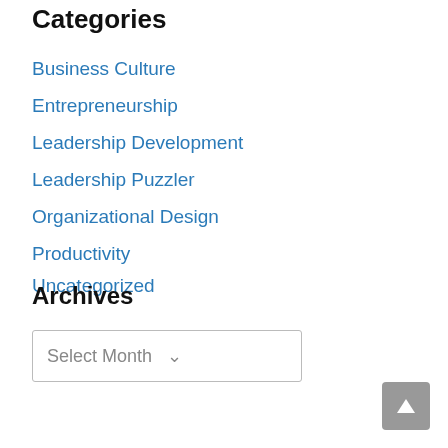Categories
Business Culture
Entrepreneurship
Leadership Development
Leadership Puzzler
Organizational Design
Productivity
Uncategorized
Archives
Select Month